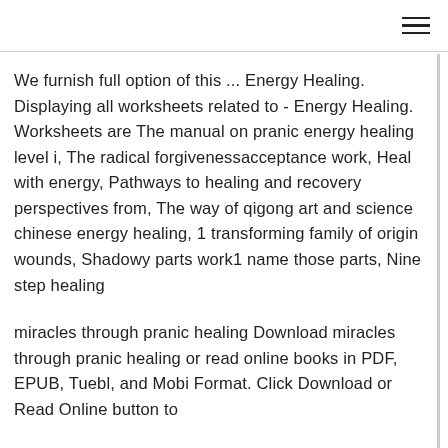We furnish full option of this ... Energy Healing. Displaying all worksheets related to - Energy Healing. Worksheets are The manual on pranic energy healing level i, The radical forgivenessacceptance work, Heal with energy, Pathways to healing and recovery perspectives from, The way of qigong art and science chinese energy healing, 1 transforming family of origin wounds, Shadowy parts work1 name those parts, Nine step healing
miracles through pranic healing Download miracles through pranic healing or read online books in PDF, EPUB, Tuebl, and Mobi Format. Click Download or Read Online button to